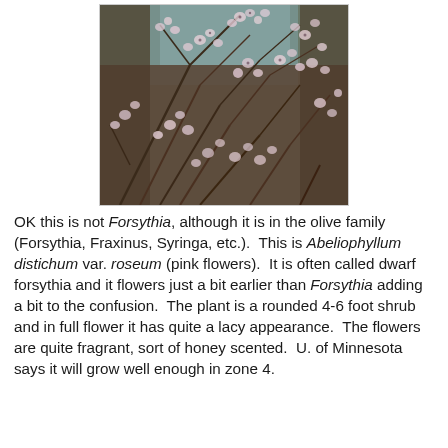[Figure (photo): Photo of Abeliophyllum distichum var. roseum showing pale pink flowers on bare brown woody branches, with a blue-green structure visible in the background.]
OK this is not Forsythia, although it is in the olive family (Forsythia, Fraxinus, Syringa, etc.).  This is Abeliophyllum distichum var. roseum (pink flowers).  It is often called dwarf forsythia and it flowers just a bit earlier than Forsythia adding a bit to the confusion.  The plant is a rounded 4-6 foot shrub and in full flower it has quite a lacy appearance.  The flowers are quite fragrant, sort of honey scented.  U. of Minnesota says it will grow well enough in zone 4.